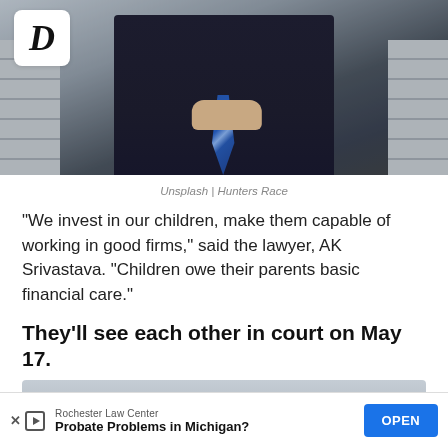[Figure (photo): A person in a dark business suit with a blue striped tie, standing with hands clasped, in front of stairs or bleachers in an outdoor setting. A 'D' logo (Distractify) appears in the top-left corner.]
Unsplash | Hunters Race
"We invest in our children, make them capable of working in good firms," said the lawyer, AK Srivastava. "Children owe their parents basic financial care."
They'll see each other in court on May 17.
[Figure (photo): Partial image of a cloudy sky, cut off at the bottom of the page.]
Rochester Law Center
Probate Problems in Michigan?
OPEN